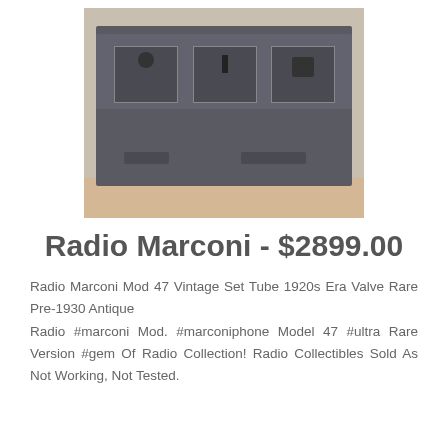[Figure (photo): Photograph of a vintage Radio Marconi Model 47 device — a dark grey metal rectangular box with three top-mounted panels (one with a knob, one with slots, one with a dial), two side vents on the lower front, photographed on a light wood surface.]
Radio Marconi - $2899.00
Radio Marconi Mod 47 Vintage Set Tube 1920s Era Valve Rare Pre-1930 Antique
Radio #marconi Mod. #marconiphone Model 47 #ultra Rare Version #gem Of Radio Collection! Radio Collectibles Sold As Not Working, Not Tested.